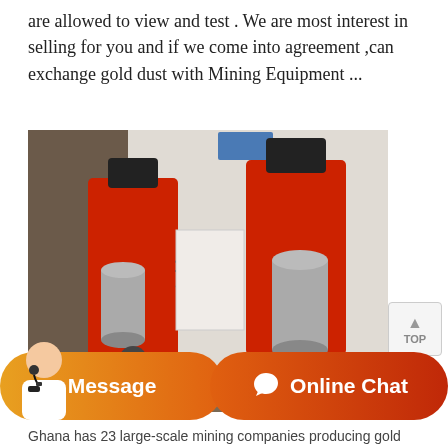are allowed to view and test . We are most interest in selling for you and if we come into agreement ,can exchange gold dust with Mining Equipment ...
[Figure (photo): Two red hydraulic or pneumatic rock drill machines mounted on a white wall, with black hoses and silver cylindrical tanks attached. Industrial mining equipment.]
Ghana has 23 large-scale mining companies producing gold